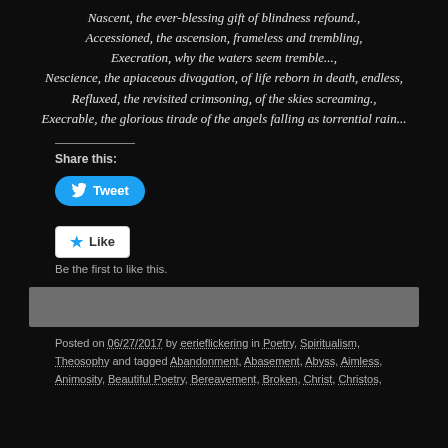Nascent, the ever-blessing gift of blindness refound.,
Accessioned, the ascension, frameless and trembling,
Execration, why the waters seem tremble...,
Nescience, the apiaceous divagation, of life reborn in death, endless,
Refluxed, the revisited crimsoning, of the skies screaming.,
Execrable, the glorious tirade of the angels falling as torrential rain...
Share this:
[Figure (other): Twitter Tweet button]
[Figure (other): Like button]
Be the first to like this.
[Figure (other): Gray bar / image placeholder]
Posted on 06/27/2017 by eerieflickering in Poetry, Spiritualism, Theosophy and tagged Abandonment, Abasement, Abyss, Aimless, Animosity, Beautiful Poetry, Bereavement, Broken, Christ, Christos,